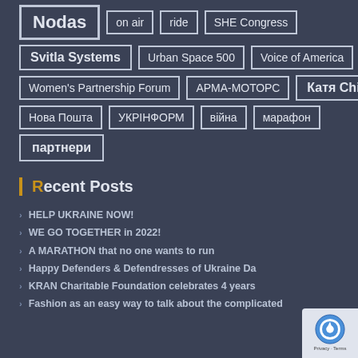Nodas
on air
ride
SHE Congress
Svitla Systems
Urban Space 500
Voice of America
Women's Partnership Forum
АРМА-МОТОРС
Катя Chilly
Нова Пошта
УКРІНФОРМ
війна
марафон
партнери
Recent Posts
HELP UKRAINE NOW!
WE GO TOGETHER in 2022!
A MARATHON that no one wants to run
Happy Defenders & Defendresses of Ukraine Da...
KRAN Charitable Foundation celebrates 4 years
Fashion as an easy way to talk about the complicated